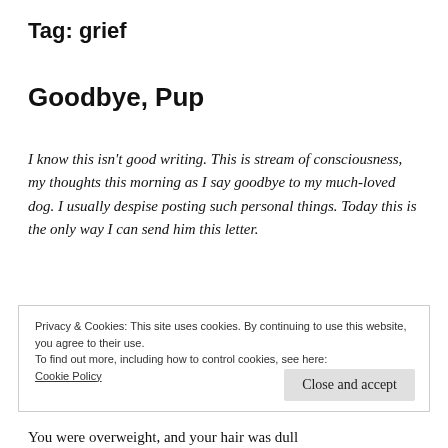Tag: grief
Goodbye, Pup
I know this isn't good writing. This is stream of consciousness, my thoughts this morning as I say goodbye to my much-loved dog. I usually despise posting such personal things. Today this is the only way I can send him this letter.
Privacy & Cookies: This site uses cookies. By continuing to use this website, you agree to their use.
To find out more, including how to control cookies, see here: Cookie Policy
Close and accept
You were overweight, and your hair was dull